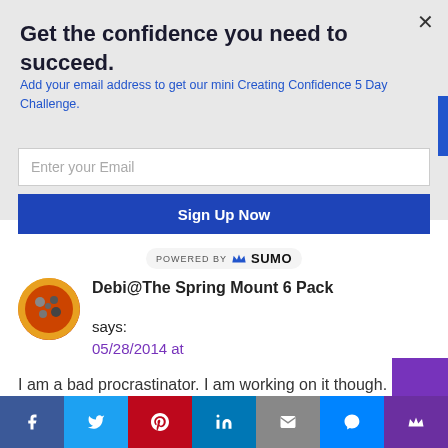Get the confidence you need to succeed.
Add your email address to get our mini Creating Confidence 5 Day Challenge.
Enter your Email
Sign Up Now
[Figure (logo): Powered by SUMO badge with crown icon]
[Figure (photo): Circular avatar image with colorful illustration for Debi@The Spring Mount 6 Pack]
Debi@The Spring Mount 6 Pack says:
05/28/2014 at
I am a bad procrastinator. I am working on it though.
[Figure (infographic): Social share bar with Facebook, Twitter, Pinterest, LinkedIn, Email, Messenger, and Sumo buttons]